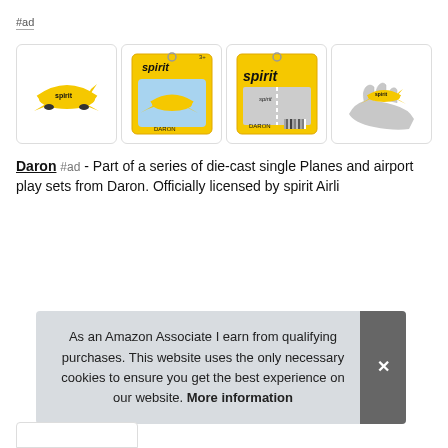#ad
[Figure (photo): Four product images of a Daron Spirit Airlines die-cast airplane toy. Image 1: Yellow Spirit airplane model free from packaging. Image 2: Product in yellow packaging box front view showing 'spirit' branding. Image 3: Product in packaging side/back view with 'spirit' text and barcode. Image 4: Small yellow Spirit airplane model being held in a hand illustration.]
Daron #ad - Part of a series of die-cast single Planes and airport play sets from Daron. Officially licensed by spirit Airli
As an Amazon Associate I earn from qualifying purchases. This website uses the only necessary cookies to ensure you get the best experience on our website. More information